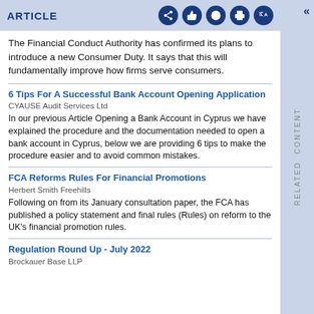ARTICLE
The Financial Conduct Authority has confirmed its plans to introduce a new Consumer Duty. It says that this will fundamentally improve how firms serve consumers.
6 Tips For A Successful Bank Account Opening Application
CYAUSE Audit Services Ltd
In our previous Article Opening a Bank Account in Cyprus we have explained the procedure and the documentation needed to open a bank account in Cyprus, below we are providing 6 tips to make the procedure easier and to avoid common mistakes.
FCA Reforms Rules For Financial Promotions
Herbert Smith Freehills
Following on from its January consultation paper, the FCA has published a policy statement and final rules (Rules) on reform to the UK's financial promotion rules.
Regulation Round Up - July 2022
Brockauer Base LLP